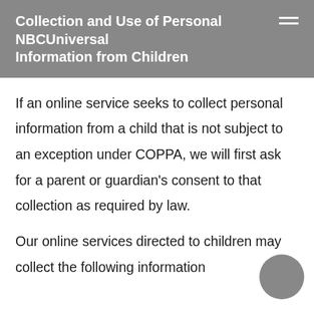Collection and Use of Personal NBCUniversal Information from Children
If an online service seeks to collect personal information from a child that is not subject to an exception under COPPA, we will first ask for a parent or guardian's consent to that collection as required by law.
Our online services directed to children may collect the following information